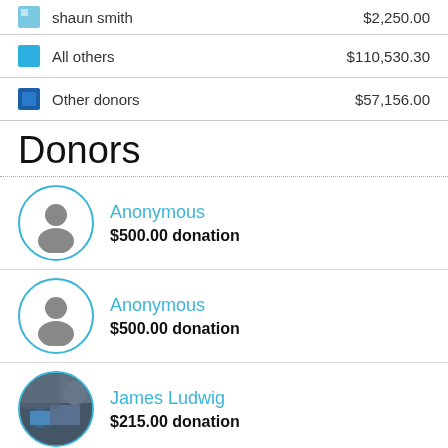shaun smith  $2,250.00
All others  $110,530.30
Other donors  $57,156.00
Donors
Anonymous  $500.00 donation
Anonymous  $500.00 donation
James Ludwig  $215.00 donation
Emily Zettlemoyer  $100.00 donation
Jeffrey VanHook  $100.00 donation